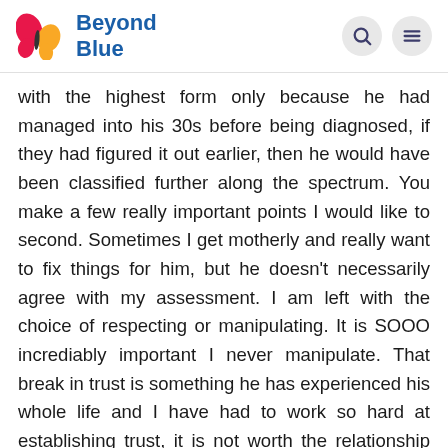Beyond Blue
with the highest form only because he had managed into his 30s before being diagnosed, if they had figured it out earlier, then he would have been classified further along the spectrum. You make a few really important points I would like to second. Sometimes I get motherly and really want to fix things for him, but he doesn't necessarily agree with my assessment. I am left with the choice of respecting or manipulating. It is SOOO incrediably important I never manipulate. That break in trust is something he has experienced his whole life and I have had to work so hard at establishing trust, it is not worth the relationship breakdown for me to take that